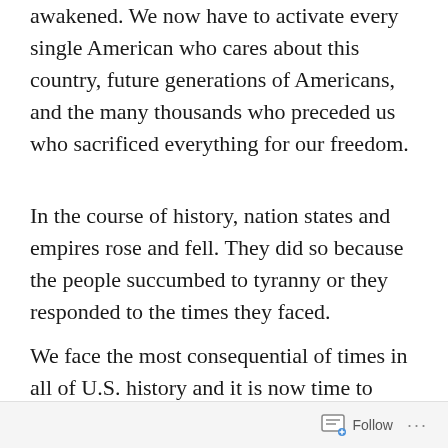awakened. We now have to activate every single American who cares about this country, future generations of Americans, and the many thousands who preceded us who sacrificed everything for our freedom.
In the course of history, nation states and empires rose and fell. They did so because the people succumbed to tyranny or they responded to the times they faced.
We face the most consequential of times in all of U.S. history and it is now time to respond. Once again, we as a free, democratic republic, face a dramatic decision point. The decisions
Follow